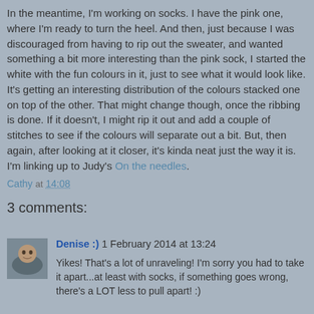In the meantime, I'm working on socks. I have the pink one, where I'm ready to turn the heel. And then, just because I was discouraged from having to rip out the sweater, and wanted something a bit more interesting than the pink sock, I started the white with the fun colours in it, just to see what it would look like. It's getting an interesting distribution of the colours stacked one on top of the other. That might change though, once the ribbing is done. If it doesn't, I might rip it out and add a couple of stitches to see if the colours will separate out a bit. But, then again, after looking at it closer, it's kinda neat just the way it is.
I'm linking up to Judy's On the needles.
Cathy at 14:08
3 comments:
[Figure (photo): Small avatar photo of a person]
Denise :) 1 February 2014 at 13:24
Yikes! That's a lot of unraveling! I'm sorry you had to take it apart...at least with socks, if something goes wrong, there's a LOT less to pull apart! :)